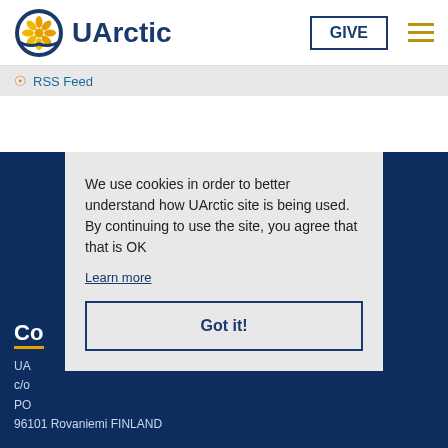[Figure (logo): UArctic logo with flower/snowflake icon in gold and blue circle, next to bold blue text 'UArctic']
RSS Feed
We use cookies in order to better understand how UArctic site is being used. By continuing to use the site, you agree that that is OK
Learn more
Got it!
Co
UA
c/o
PO
96101 Rovaniemi FINLAND